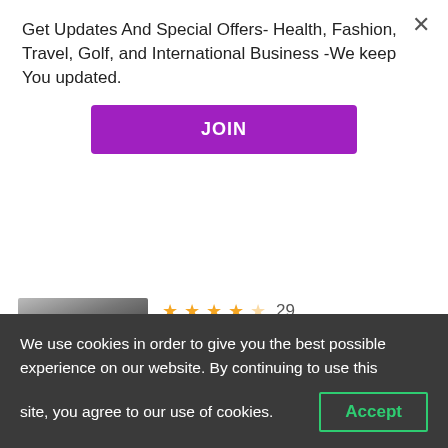Get Updates And Special Offers- Health, Fashion, Travel, Golf, and International Business -We keep You updated.
JOIN
3.5 stars, 29 reviews, $8.34 and up
CUENCA, ECUADOR
Full-Day Ingapirca, Gualaceo & Chordeleg from Cuenca
5 stars, 44 reviews, $64.99 and up
We use cookies in order to give you the best possible experience on our website. By continuing to use this site, you agree to our use of cookies.
Accept